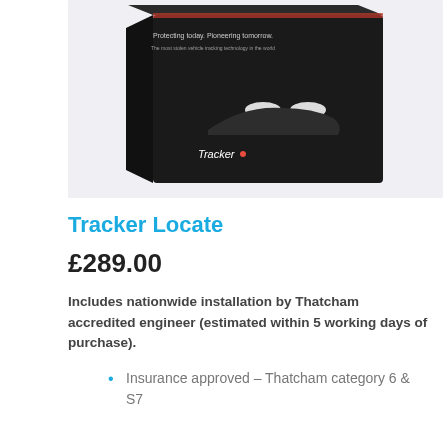[Figure (photo): Product box for Tracker Locate vehicle tracking device on light grey background. Box is dark/black with a car image and 'Tracker' branding. Text reads 'Protecting today. Pioneering tomorrow.' and 'The most stolen vehicle tracking technology in the world'.]
Tracker Locate
£289.00
Includes nationwide installation by Thatcham accredited engineer (estimated within 5 working days of purchase).
Insurance approved – Thatcham category 6 & S7